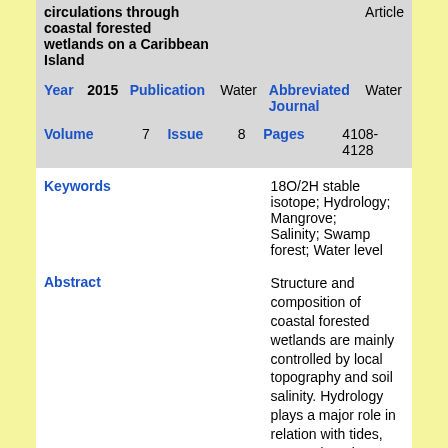| circulations through coastal forested wetlands on a Caribbean Island | Article |
| Year | 2015 | Publication | Water | Abbreviated Journal | Water |
| Volume | 7 | Issue | 8 | Pages | 4108-4128 |
| Keywords | 18O/2H stable isotope; Hydrology; Mangrove; Salinity; Swamp forest; Water level |
| Abstract | Structure and composition of coastal forested wetlands are mainly controlled by local topography and soil salinity. Hydrology plays a major role in relation with tides, seaward, and freshwater inputs, landward. We report here the results of a two-year study undertaken in a coastal plain of the Guadeloupe archipelago (FWI). As elsewhere in the Caribbean islands, the study area is characterized by a micro-tidal regime and a highly seasonal climate. This work aimed at understanding groundwater dynamics and origin (seawater/freshwater) both at ecosystems and stand levels. These hydrological processes were assessed through 18O/16O and 2H/1H isotopic analyses, and from monthly monitoring of water level and soil salinity at five study sites located in mangrove (3) and swamp forest (2). Our results highlight the importance of freshwater budget |